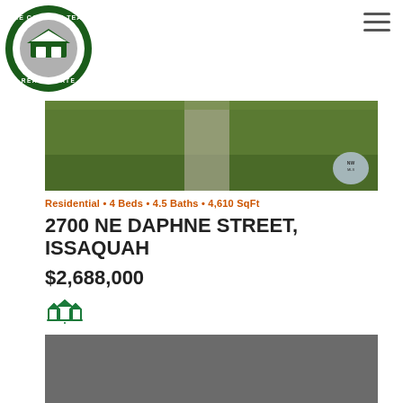[Figure (logo): The Cascade Team Real Estate circular logo in green and grey]
[Figure (photo): Exterior photo of property showing green lawn and concrete path]
Residential • 4 Beds • 4.5 Baths • 4,610 SqFt
2700 NE DAPHNE STREET, ISSAQUAH
$2,688,000
[Figure (logo): NWMLS / MLS three-house icon logo in green]
[Figure (photo): Second property photo, darkened/loading grey rectangle]